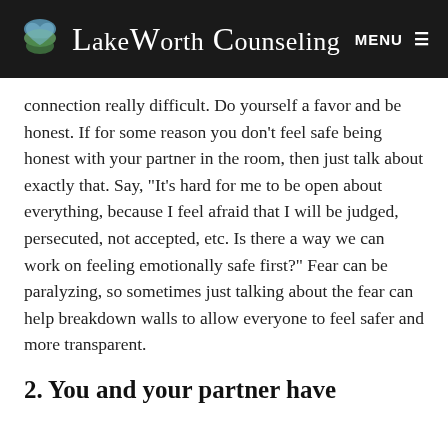Lake Worth Counseling  MENU
connection really difficult. Do yourself a favor and be honest. If for some reason you don't feel safe being honest with your partner in the room, then just talk about exactly that. Say, "It's hard for me to be open about everything, because I feel afraid that I will be judged, persecuted, not accepted, etc. Is there a way we can work on feeling emotionally safe first?" Fear can be paralyzing, so sometimes just talking about the fear can help breakdown walls to allow everyone to feel safer and more transparent.
2. You and your partner have